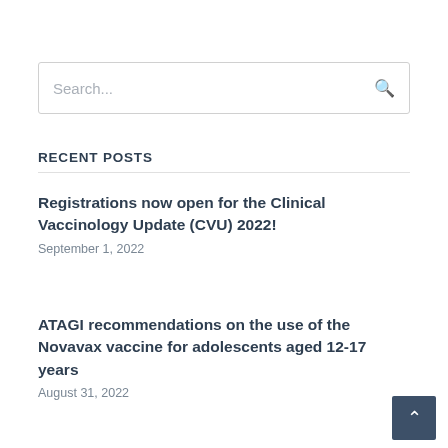Search...
RECENT POSTS
Registrations now open for the Clinical Vaccinology Update (CVU) 2022!
September 1, 2022
ATAGI recommendations on the use of the Novavax vaccine for adolescents aged 12-17 years
August 31, 2022